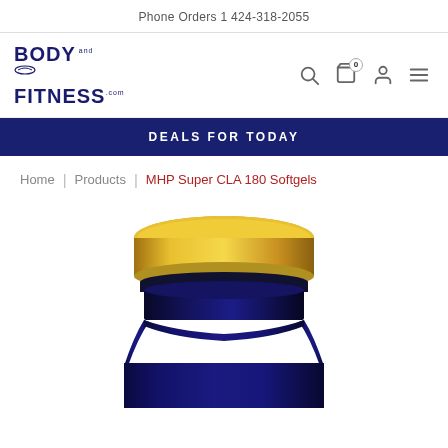Phone Orders 1 424-318-2055
[Figure (logo): Body and Fitness .com logo in dark navy blue bold text]
DEALS FOR TODAY
Home | Products | MHP Super CLA 180 Softgels
[Figure (photo): Top portion of a dark navy blue supplement bottle with a gold/yellow lid, showing the cap and upper shoulder of the container]